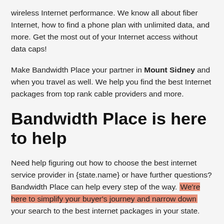wireless Internet performance. We know all about fiber Internet, how to find a phone plan with unlimited data, and more. Get the most out of your Internet access without data caps!
Make Bandwidth Place your partner in Mount Sidney and when you travel as well. We help you find the best Internet packages from top rank cable providers and more.
Bandwidth Place is here to help
Need help figuring out how to choose the best internet service provider in {state.name} or have further questions? Bandwidth Place can help every step of the way. We're here to simplify your buyer's journey and narrow down your search to the best internet packages in your state.